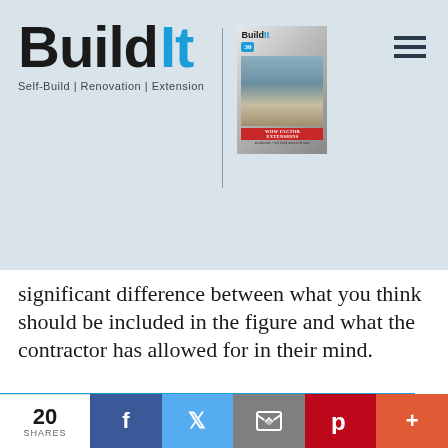Build It — Self-Build | Renovation | Extension
significant difference between what you think should be included in the figure and what the contractor has allowed for in their mind.
The best way to fo... ...eting ...d up
This website uses cookies to ensure you get the best experience on our website. Learn more Got it!
20 SHARES  f  t  [email]  p  +